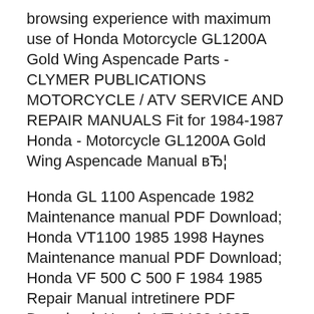browsing experience with maximum use of Honda Motorcycle GL1200A Gold Wing Aspencade Parts - CLYMER PUBLICATIONS MOTORCYCLE / ATV SERVICE AND REPAIR MANUALS Fit for 1984-1987 Honda - Motorcycle GL1200A Gold Wing Aspencade Manual вЂ¦
Honda GL 1100 Aspencade 1982 Maintenance manual PDF Download; Honda VT1100 1985 1998 Haynes Maintenance manual PDF Download; Honda VF 500 C 500 F 1984 1985 Repair Manual intretinere PDF Download; Honda VT 1100 1985 1998 Repair Manual PDF Download; Honda Fourtrax 250 1985-1987 Service Manual PDF Download; Honda Odyssey FL250R...